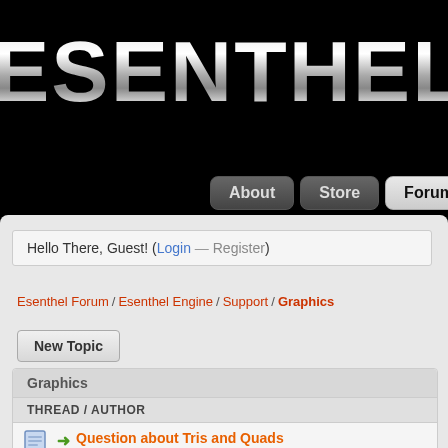[Figure (logo): Esenthel game engine logo with metallic silver text on black background]
About | Store | Forum | Docu
Hello There, Guest! (Login — Register)
Esenthel Forum / Esenthel Engine / Support / Graphics
New Topic
Graphics
THREAD / AUTHOR
Question about Tris and Quads
Aniketos
Draw text on texture - need help
ksubox
Stronger Shadow Only ?
RedcrowProd
.max models
davidxo